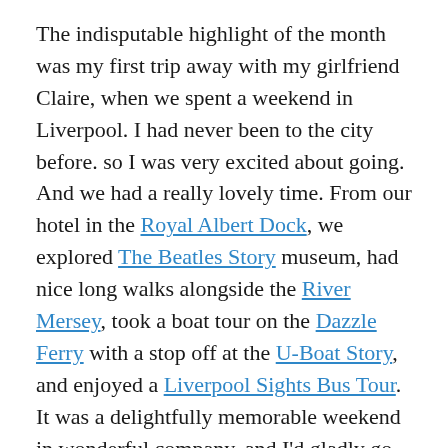The indisputable highlight of the month was my first trip away with my girlfriend Claire, when we spent a weekend in Liverpool. I had never been to the city before. so I was very excited about going. And we had a really lovely time. From our hotel in the Royal Albert Dock, we explored The Beatles Story museum, had nice long walks alongside the River Mersey, took a boat tour on the Dazzle Ferry with a stop off at the U-Boat Story, and enjoyed a Liverpool Sights Bus Tour. It was a delightfully memorable weekend in wonderful company, and I'd gladly go back there to explore further in the future.
I don't need to go into much detail here,